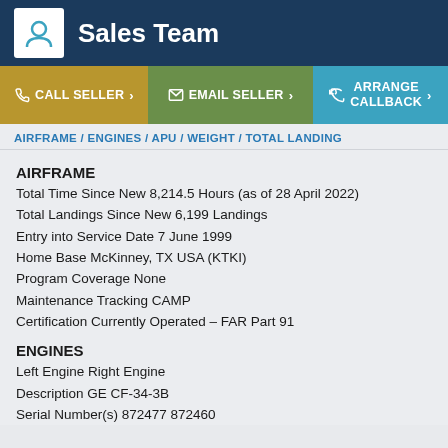Sales Team
CALL SELLER > | EMAIL SELLER > | ARRANGE CALLBACK >
AIRFRAME / ENGINES / APU / WEIGHT / TOTAL LANDING
AIRFRAME
Total Time Since New 8,214.5 Hours (as of 28 April 2022)
Total Landings Since New 6,199 Landings
Entry into Service Date 7 June 1999
Home Base McKinney, TX USA (KTKI)
Program Coverage None
Maintenance Tracking CAMP
Certification Currently Operated – FAR Part 91
ENGINES
Left Engine Right Engine
Description GE CF-34-3B
Serial Number(s) 872477 872460